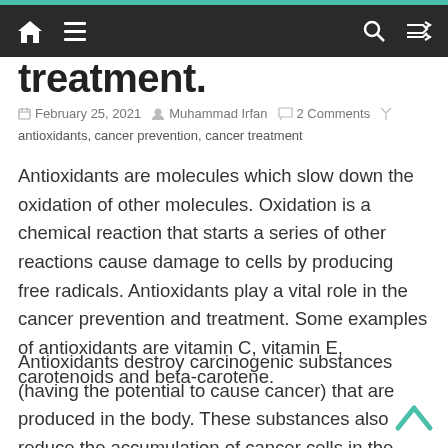Navigation bar with home, menu, search, and shuffle icons
treatment.
February 25, 2021   Muhammad Irfan   2 Comments
antioxidants, cancer prevention, cancer treatment
Antioxidants are molecules which slow down the oxidation of other molecules. Oxidation is a chemical reaction that starts a series of other reactions cause damage to cells by producing free radicals. Antioxidants play a vital role in the cancer prevention and treatment. Some examples of antioxidants are vitamin C, vitamin E, carotenoids and beta-carotene.
Antioxidants destroy carcinogenic substances (having the potential to cause cancer) that are produced in the body. These substances also reduce the accumulation of cancer cells in the